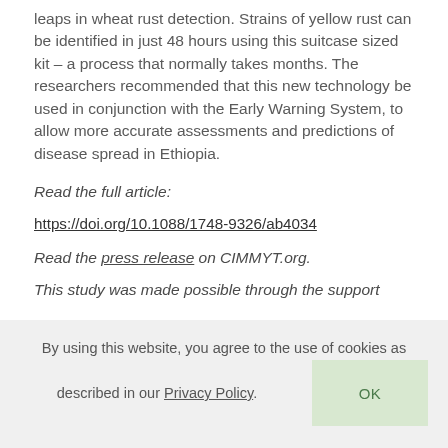leaps in wheat rust detection. Strains of yellow rust can be identified in just 48 hours using this suitcase sized kit – a process that normally takes months. The researchers recommended that this new technology be used in conjunction with the Early Warning System, to allow more accurate assessments and predictions of disease spread in Ethiopia.
Read the full article:
https://doi.org/10.1088/1748-9326/ab4034
Read the press release on CIMMYT.org.
This study was made possible through the support
By using this website, you agree to the use of cookies as described in our Privacy Policy.